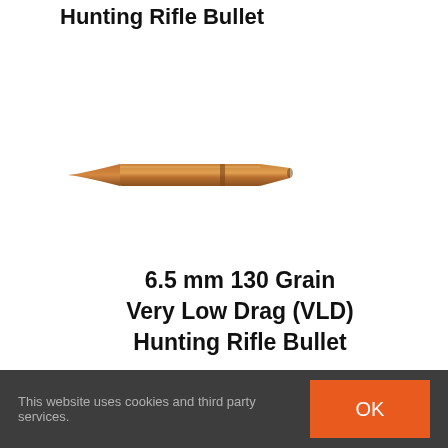Hunting Rifle Bullet
[Figure (photo): A copper-colored elongated rifle bullet (VLD design) photographed on a white background, pointing to the right.]
6.5 mm 130 Grain Very Low Drag (VLD) Hunting Rifle Bullet
This website uses cookies and third party services.
OK